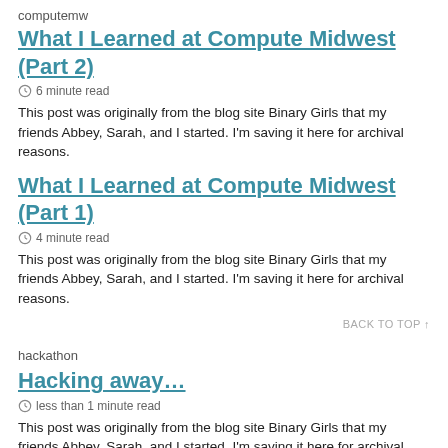computemw
What I Learned at Compute Midwest (Part 2)
6 minute read
This post was originally from the blog site Binary Girls that my friends Abbey, Sarah, and I started. I'm saving it here for archival reasons.
What I Learned at Compute Midwest (Part 1)
4 minute read
This post was originally from the blog site Binary Girls that my friends Abbey, Sarah, and I started. I'm saving it here for archival reasons.
BACK TO TOP ↑
hackathon
Hacking away…
less than 1 minute read
This post was originally from the blog site Binary Girls that my friends Abbey, Sarah, and I started. I'm saving it here for archival reasons.